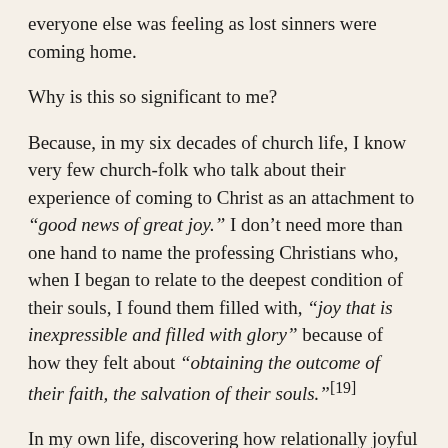everyone else was feeling as lost sinners were coming home.
Why is this so significant to me?
Because, in my six decades of church life, I know very few church-folk who talk about their experience of coming to Christ as an attachment to “good news of great joy.” I don’t need more than one hand to name the professing Christians who, when I began to relate to the deepest condition of their souls, I found them filled with, “joy that is inexpressible and filled with glory” because of how they felt about “obtaining the outcome of their faith, the salvation of their souls.”[19]
In my own life, discovering how relationally joyful God is has been transforming to me. My predominant mindset growing up was that people had every right to get angry at me because there was always